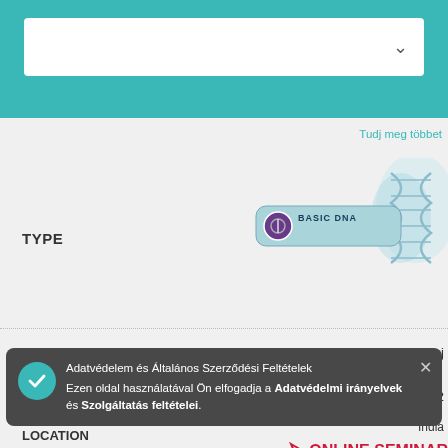[Figure (screenshot): Teal header bar with white dropdown selector box containing a chevron]
Tudj meg többet
TYPE
[Figure (logo): Basic DNA badge with DNA helix graphic and teal background]
INSTRUCTOR	Neha Kamboj
DATES	August 26 - 28, 2022
LOCATION	India
ONLINE SEMINAR
Tudj meg többet
T
[Figure (logo): Second Basic DNA badge with DNA helix graphic]
INSTRUCTOR	Elena Mikharova
Adatvédelem és Általános Szerződési Feltételek Ezen oldal használatával Ön elfogadja a Adatvédelmi irányelvek és Szolgáltatás feltételei.